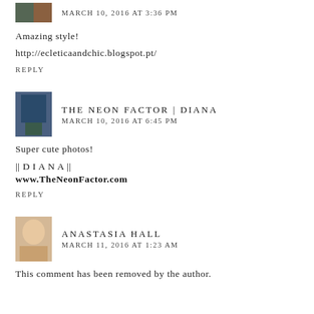MARCH 10, 2016 AT 3:36 PM
Amazing style!
http://ecleticaandchic.blogspot.pt/
REPLY
THE NEON FACTOR | DIANA
MARCH 10, 2016 AT 6:45 PM
Super cute photos!
|| D I A N A ||
www.TheNeonFactor.com
REPLY
ANASTASIA HALL
MARCH 11, 2016 AT 1:23 AM
This comment has been removed by the author.